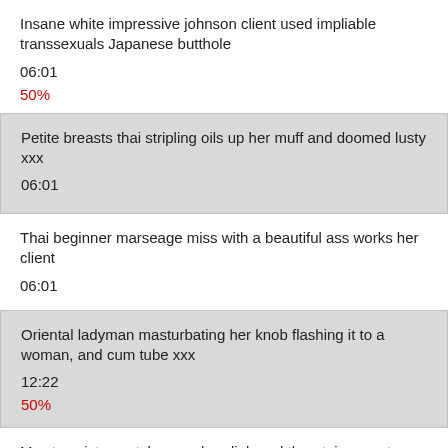Insane white impressive johnson client used impliable transsexuals Japanese butthole
06:01
50%
Petite breasts thai stripling oils up her muff and doomed lusty xxx
06:01
Thai beginner marseage miss with a beautiful ass works her client
06:01
Oriental ladyman masturbating her knob flashing it to a woman, and cum tube xxx
12:22
50%
My step sister watches me headjob and throatpie monster shlong